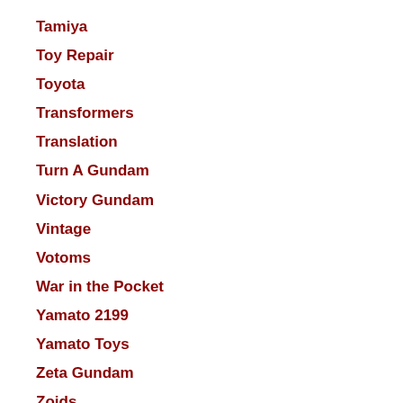Tamiya
Toy Repair
Toyota
Transformers
Translation
Turn A Gundam
Victory Gundam
Vintage
Votoms
War in the Pocket
Yamato 2199
Yamato Toys
Zeta Gundam
Zoids
ZZ Gundam
Archive